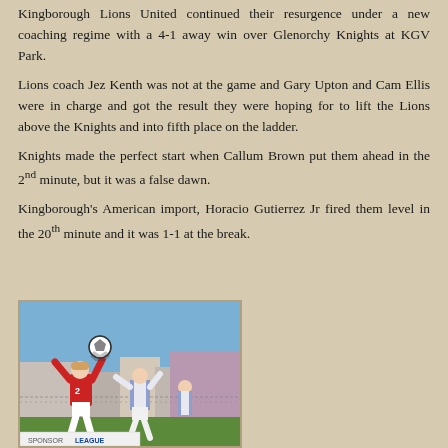Kingborough Lions United continued their resurgence under a new coaching regime with a 4-1 away win over Glenorchy Knights at KGV Park.
Lions coach Jez Kenth was not at the game and Gary Upton and Cam Ellis were in charge and got the result they were hoping for to lift the Lions above the Knights and into fifth place on the ladder.
Knights made the perfect start when Callum Brown put them ahead in the 2nd minute, but it was a false dawn.
Kingborough's American import, Horacio Gutierrez Jr fired them level in the 20th minute and it was 1-1 at the break.
[Figure (photo): Soccer match action photo showing players in red and white kits competing for a header near the ball, with a chain-link fence and buildings in the background.]